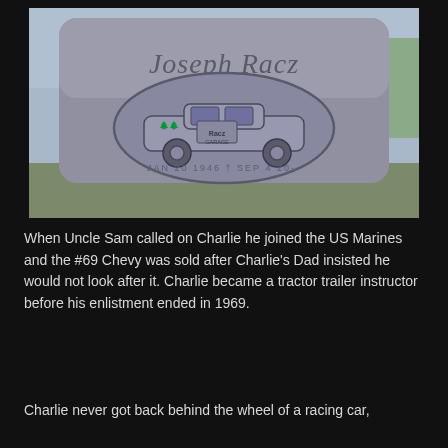[Figure (photo): Photo of a granite gravestone for Joseph Racz, engraved with a racing car in an oval, trees in background. Date inscription and cross visible at bottom.]
When Uncle Sam called on Charlie he joined the US Marines and the #69 Chevy was sold after Charlie's Dad insisted he would not look after it. Charlie became a tractor trailer instructor before his enlistment ended in 1969.
Charlie never got back behind the wheel of a racing car,